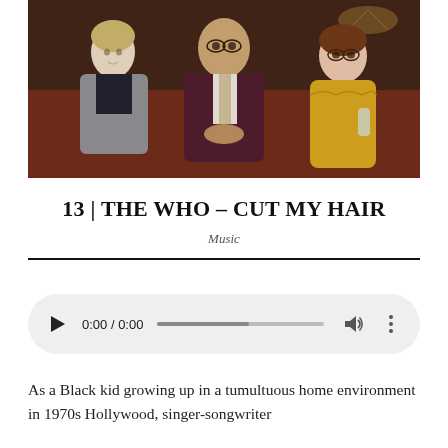[Figure (photo): Three people seated on a dark red sofa in an ornate room. Left: a pale person with blonde hair wearing a grey jacket and dark shirt. Center: a man in a dark purple suit with glasses and clasped hands. Right: a woman in a yellow dress holding a drink, wearing glasses.]
13 | THE WHO – CUT MY HAIR
Music
[Figure (screenshot): Audio player widget showing play button, time display 0:00 / 0:00, progress bar, volume icon, and more options icon.]
As a Black kid growing up in a tumultuous home environment in 1970s Hollywood, singer-songwriter